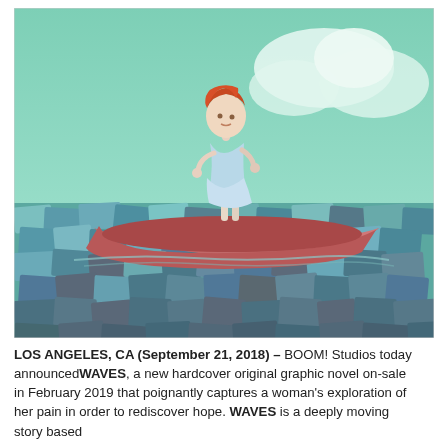[Figure (illustration): Illustration of a young girl with red hair wearing a light blue dress, standing in a red wooden boat floating on a stylized sea made of overlapping blue, teal, and slate-colored rectangular paper-like shapes. The background features a soft mint-green sky with clouds.]
LOS ANGELES, CA (September 21, 2018) – BOOM! Studios today announced WAVES, a new hardcover original graphic novel on-sale in February 2019 that poignantly captures a woman's exploration of her pain in order to rediscover hope. WAVES is a deeply moving story based...